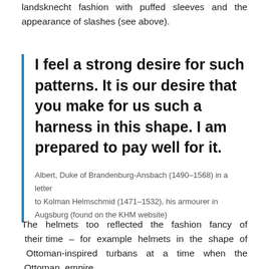landsknecht fashion with puffed sleeves and the appearance of slashes (see above).
I feel a strong desire for such patterns. It is our desire that you make for us such a harness in this shape. I am prepared to pay well for it.
Albert, Duke of Brandenburg-Ansbach (1490–1568) in a letter to Kolman Helmschmid (1471–1532), his armourer in Augsburg (found on the KHM website)
The helmets too reflected the fashion fancy of their time – for example helmets in the shape of Ottoman-inspired turbans at a time when the Ottoman empire